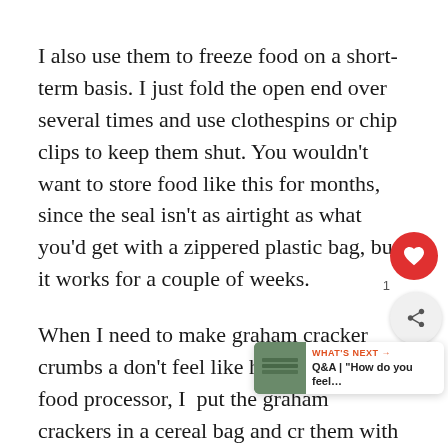I also use them to freeze food on a short-term basis. I just fold the open end over several times and use clothespins or chip clips to keep them shut. You wouldn't want to store food like this for months, since the seal isn't as airtight as what you'd get with a zippered plastic bag, but it works for a couple of weeks.
When I need to make graham cracker crumbs and don't feel like hauling out the food processor, I put the graham crackers in a cereal bag and crush them with a rolling pin. The cereal bags handle this type of pressure a lot better than regular plastic bags do.